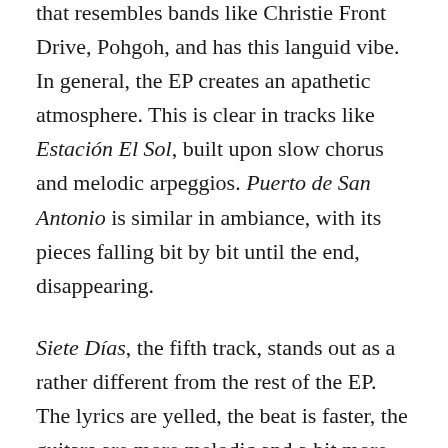that resembles bands like Christie Front Drive, Pohgoh, and has this languid vibe. In general, the EP creates an apathetic atmosphere. This is clear in tracks like Estación El Sol, built upon slow chorus and melodic arpeggios. Puerto de San Antonio is similar in ambiance, with its pieces falling bit by bit until the end, disappearing.
Siete Días, the fifth track, stands out as a rather different from the rest of the EP. The lyrics are yelled, the beat is faster, the guitars are more melodic and a bit more daring. It's more similar to emocore bands from the early 90s, but it works well in context of this release. It's not like they just put it in there for no apparent reason.